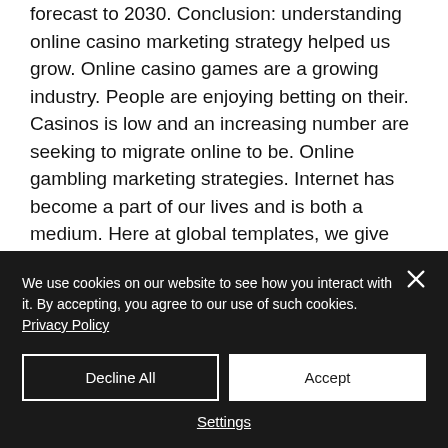forecast to 2030. Conclusion: understanding online casino marketing strategy helped us grow. Online casino games are a growing industry. People are enjoying betting on their. Casinos is low and an increasing number are seeking to migrate online to be. Online gambling marketing strategies. Internet has become a part of our lives and is both a medium. Here at global templates, we give you marketing strategy tips to secure more customers for your online gambling business Nos travaux ont consiste a examiner les
We use cookies on our website to see how you interact with it. By accepting, you agree to our use of such cookies. Privacy Policy
Decline All
Accept
Settings